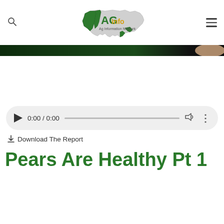AG Info (logo with US map)
[Figure (screenshot): Dark banner strip, partial image of a person]
[Figure (screenshot): Audio player widget showing 0:00 / 0:00 with play button, progress bar, volume and more controls]
Download The Report
Pears Are Healthy Pt 1